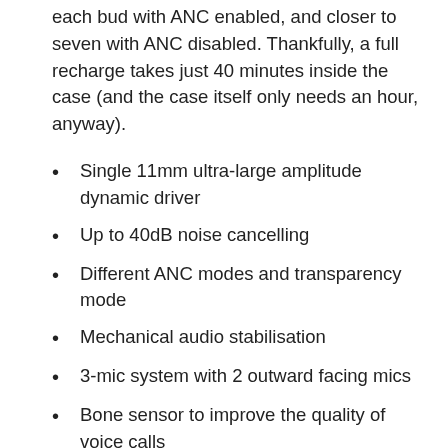each bud with ANC enabled, and closer to seven with ANC disabled. Thankfully, a full recharge takes just 40 minutes inside the case (and the case itself only needs an hour, anyway).
Single 11mm ultra-large amplitude dynamic driver
Up to 40dB noise cancelling
Different ANC modes and transparency mode
Mechanical audio stabilisation
3-mic system with 2 outward facing mics
Bone sensor to improve the quality of voice calls
Bluetooth 5.2
Dual anti-wind noise design with 2-mics on the top and bottom of the stem
30 hours battery life (case+earphones)